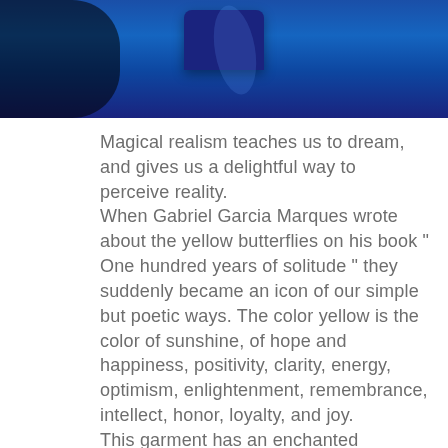[Figure (photo): Partial photo showing a blue-lit scene with a dark silhouette on the left and a blue object in the center against a vivid blue background. The image is cropped at the top of the page.]
Magical realism teaches us to dream, and gives us a delightful way to perceive reality. When Gabriel Garcia Marques wrote about the yellow butterflies on his book " One hundred years of solitude " they suddenly became an icon of our simple but poetic ways. The color yellow is the color of sunshine, of hope and happiness, positivity, clarity, energy, optimism, enlightenment, remembrance, intellect, honor, loyalty, and joy. This garment has an enchanted narrative in the shape of yellow butterflies and flowers; that send a message of peace, love and hope from Colombia to Thailand.